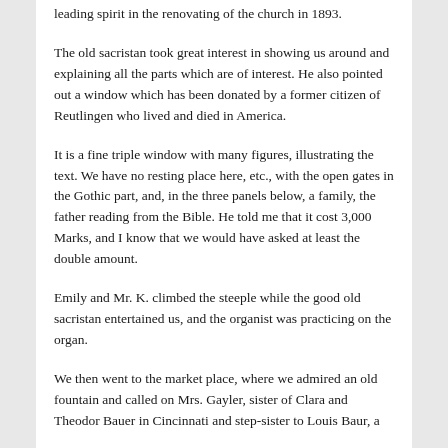leading spirit in the renovating of the church in 1893.
The old sacristan took great interest in showing us around and explaining all the parts which are of interest. He also pointed out a window which has been donated by a former citizen of Reutlingen who lived and died in America.
It is a fine triple window with many figures, illustrating the text. We have no resting place here, etc., with the open gates in the Gothic part, and, in the three panels below, a family, the father reading from the Bible. He told me that it cost 3,000 Marks, and I know that we would have asked at least the double amount.
Emily and Mr. K. climbed the steeple while the good old sacristan entertained us, and the organist was practicing on the organ.
We then went to the market place, where we admired an old fountain and called on Mrs. Gayler, sister of Clara and Theodor Bauer in Cincinnati and step-sister to Louis Baur, a